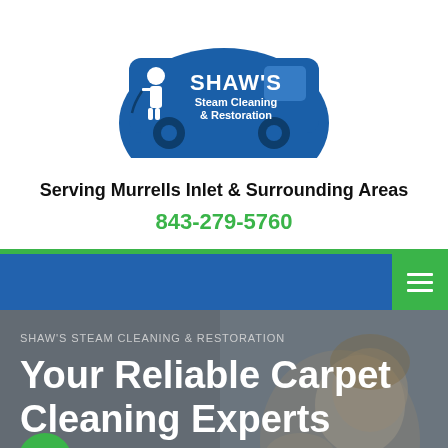[Figure (logo): Shaw's Steam Cleaning & Restoration logo — blue silhouette of a van with a technician figure and company name text in white]
Serving Murrells Inlet & Surrounding Areas
843-279-5760
[Figure (screenshot): Blue navigation bar with green hamburger menu button on right]
SHAW'S STEAM CLEANING & RESTORATION
Your Reliable Carpet Cleaning Experts Conway, SC